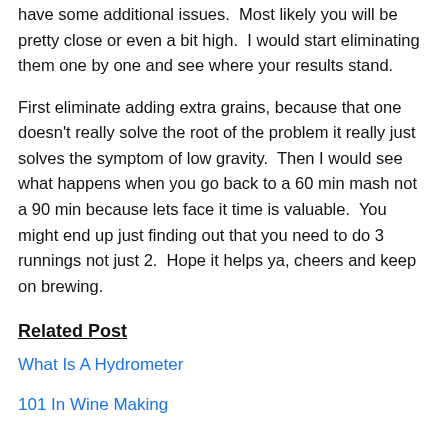have some additional issues.  Most likely you will be pretty close or even a bit high.  I would start eliminating them one by one and see where your results stand.
First eliminate adding extra grains, because that one doesn't really solve the root of the problem it really just solves the symptom of low gravity.  Then I would see what happens when you go back to a 60 min mash not a 90 min because lets face it time is valuable.  You might end up just finding out that you need to do 3 runnings not just 2.  Hope it helps ya, cheers and keep on brewing.
Related Post
What Is A Hydrometer
101 In Wine Making